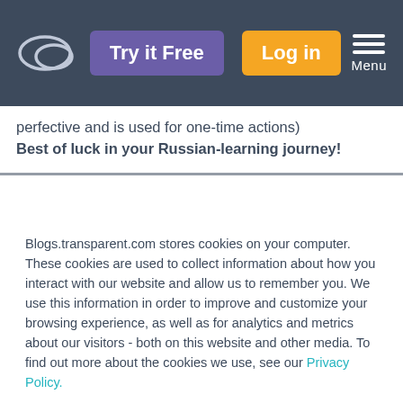Try it Free | Log in | Menu
perfective and is used for one-time actions)
Best of luck in your Russian-learning journey!
Blogs.transparent.com stores cookies on your computer. These cookies are used to collect information about how you interact with our website and allow us to remember you. We use this information in order to improve and customize your browsing experience, as well as for analytics and metrics about our visitors - both on this website and other media. To find out more about the cookies we use, see our Privacy Policy.
If you decline, your information won't be tracked when you visit this website. A single cookie will be used in your browser to remember your preference not to be tracked.